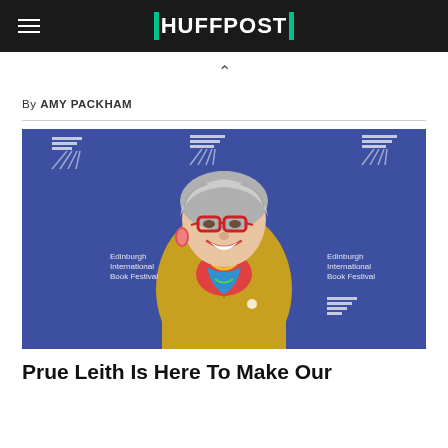HUFFPOST
By AMY PACKHAM
[Figure (photo): Prue Leith smiling at Edinburgh International Book Festival, wearing red glasses, yellow jacket and colourful scarf, against a blue festival backdrop]
Prue Leith Is Here To Make Our